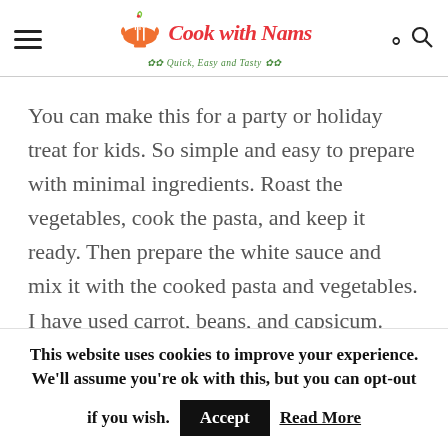Cook with Nams — Quick, Easy and Tasty
You can make this for a party or holiday treat for kids. So simple and easy to prepare with minimal ingredients. Roast the vegetables, cook the pasta, and keep it ready. Then prepare the white sauce and mix it with the cooked pasta and vegetables. I have used carrot, beans, and capsicum. You can use any vegetable you prefer of your choice.
This website uses cookies to improve your experience. We'll assume you're ok with this, but you can opt-out if you wish. Accept Read More